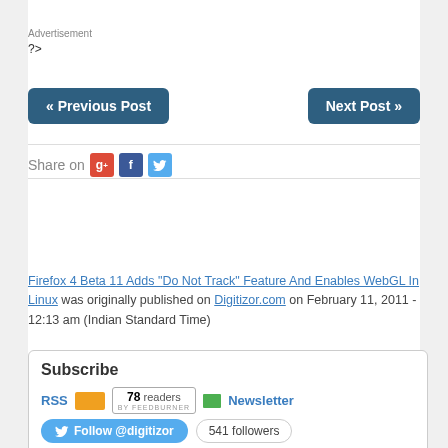Advertisement
?>
« Previous Post
Next Post »
Share on
Firefox 4 Beta 11 Adds "Do Not Track" Feature And Enables WebGL In Linux was originally published on Digitizor.com on February 11, 2011 - 12:13 am (Indian Standard Time)
Subscribe
RSS   78 readers BY FEEDBURNER   Newsletter
Follow @digitizor  541 followers